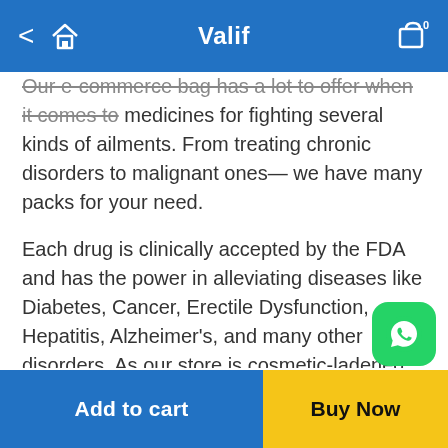Valif
Our e-commerce bag has a lot to offer when it comes to medicines for fighting several kinds of ailments. From treating chronic disorders to malignant ones— we have many packs for your need.
Each drug is clinically accepted by the FDA and has the power in alleviating diseases like Diabetes, Cancer, Erectile Dysfunction, Hepatitis, Alzheimer's, and many other disorders. As our store is cosmetic-ladened, we long to touch new heights by catering cosmetic services to the customers who are unsatisfied with their body imperfection. We have allotted an entire segment for creams, hair fall serum, eye care solutions, lotions, etc. so that we give rise to the satisfaction in them. We also have a stronghold of generic medicines which treat embarrassing diseases such as erectile dysfunction, prema